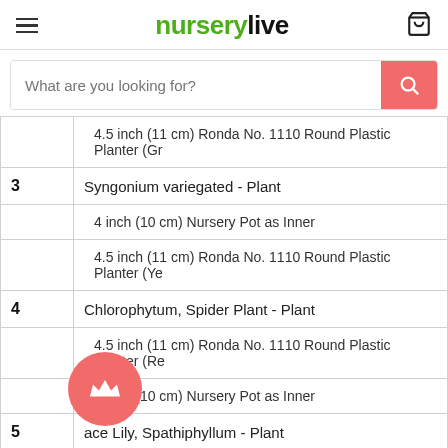nurserylive
| # | Item |
| --- | --- |
|  | 4.5 inch (11 cm) Ronda No. 1110 Round Plastic Planter (Gr |
| 3 | Syngonium variegated - Plant |
|  | 4 inch (10 cm) Nursery Pot as Inner |
|  | 4.5 inch (11 cm) Ronda No. 1110 Round Plastic Planter (Ye |
| 4 | Chlorophytum, Spider Plant - Plant |
|  | 4.5 inch (11 cm) Ronda No. 1110 Round Plastic Planter (Re |
|  | 4 inch (10 cm) Nursery Pot as Inner |
| 5 | ace Lily, Spathiphyllum - Plant |
|  | 4 inch (10 cm) Grower Round Plastic Pot (Black) |
|  | 4.5 inch (11 cm) Ronda No. 1110 Round Plastic Planter (Pa |